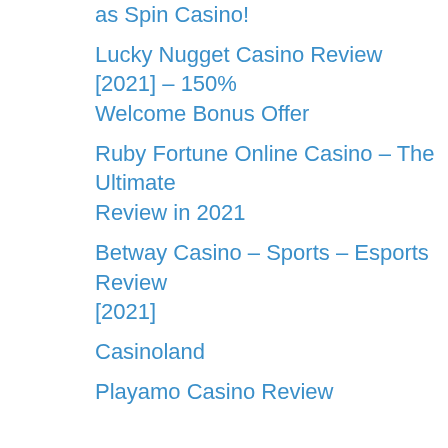as Spin Casino!
Lucky Nugget Casino Review [2021] – 150% Welcome Bonus Offer
Ruby Fortune Online Casino – The Ultimate Review in 2021
Betway Casino – Sports – Esports Review [2021]
Casinoland
Playamo Casino Review
Pokies Reviews
Thunderstruck II Slot Online Review
Riviera Riches Slot Review
Buffalo Pokie Review